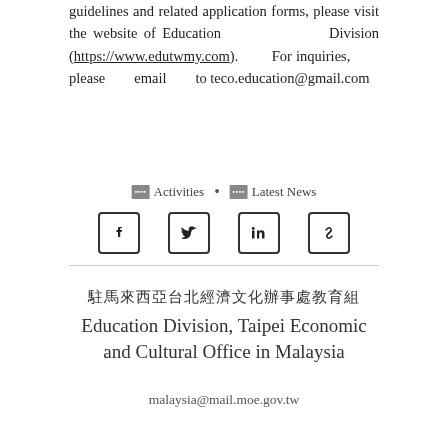guidelines and related application forms, please visit the website of Education Division (https://www.edutwmy.com). For inquiries, please email to teco.education@gmail.com
🔲🔲🔲🔲 Activities • 🔲🔲🔲🔲 Latest News
[Figure (other): Social media share icons: Facebook, Twitter, LinkedIn, and a link/copy icon]
駐馬來西亞台北經濟文化辦事處教育組
Education Division, Taipei Economic and Cultural Office in Malaysia
malaysia@mail.moe.gov.tw